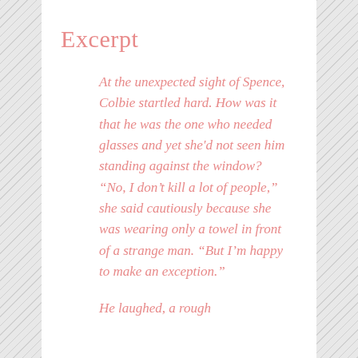Excerpt
At the unexpected sight of Spence, Colbie startled hard. How was it that he was the one who needed glasses and yet she'd not seen him standing against the window? “No, I don’t kill a lot of people,” she said cautiously because she was wearing only a towel in front of a strange man. “But I’m happy to make an exception.”
He laughed, a rough